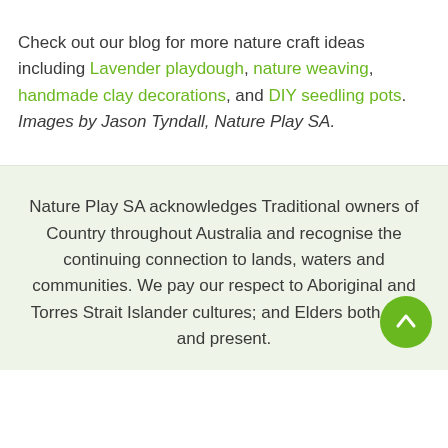Check out our blog for more nature craft ideas including Lavender playdough, nature weaving, handmade clay decorations, and DIY seedling pots. Images by Jason Tyndall, Nature Play SA.
Nature Play SA acknowledges Traditional owners of Country throughout Australia and recognise the continuing connection to lands, waters and communities. We pay our respect to Aboriginal and Torres Strait Islander cultures; and Elders both past and present.